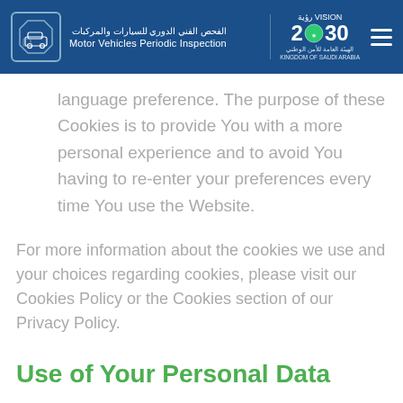Motor Vehicles Periodic Inspection | Vision 2030
language preference. The purpose of these Cookies is to provide You with a more personal experience and to avoid You having to re-enter your preferences every time You use the Website.
For more information about the cookies we use and your choices regarding cookies, please visit our Cookies Policy or the Cookies section of our Privacy Policy.
Use of Your Personal Data
The Company may use Personal Data for the following purposes: